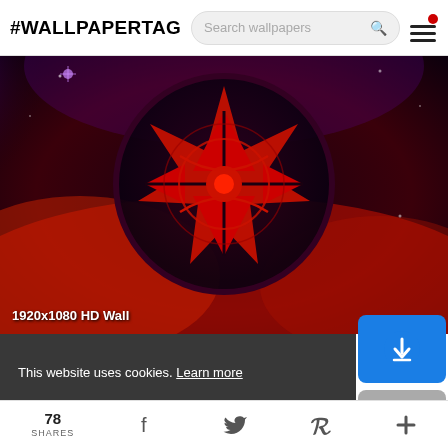#WALLPAPERTAG  [Search wallpapers]
[Figure (photo): Dark fantasy wallpaper with a red star/eye Sharingan-like symbol inside a black circle, set against a dramatic red smoke and purple-lit background. 1920x1080 HD Wall label in bottom-left corner.]
This website uses cookies. Learn more
Got it!
78 SHARES  [Facebook]  [Twitter]  [Pinterest]  [More]